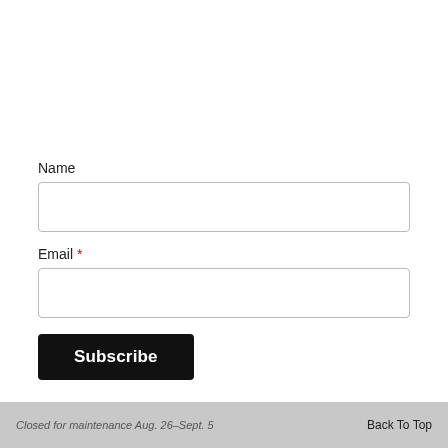Get the Latest from Sundaram Tagore Gallery
Name
Email *
Subscribe
Closed for maintenance Aug. 26–Sept. 5   Back To Top